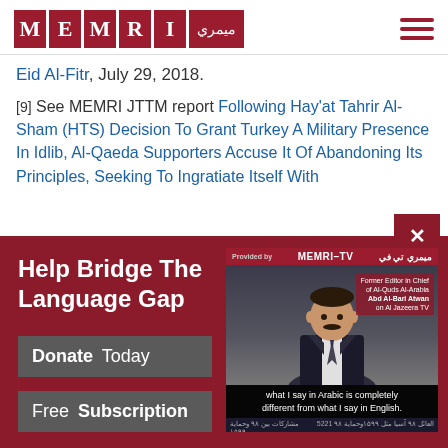[Figure (logo): MEMRI logo with red letter tiles and Arabic text, plus hamburger menu icon]
Eid Al-Fitr, July 29, 2018.
[9] See MEMRI JTTM report Following Hay'at Tahrir Al-Sham (HTS) Decision To Grant Turkey A Military Presence In Idlib, Al-Qaeda Supporters Accuse It Of Abandoning Its Principles, Seeking To Ingratiate Itself With
[Figure (screenshot): MEMRI-TV video thumbnail showing a man in a suit with subtitle: 'what I say in Arabic is completely different from what I say in English.' Label: Former Editor in Chief of Al-Quds Al-Arabia Abd Al-Bari Atwan on Al Jazeera TV]
Help Bridge The Language Gap
Donate Today
Free Subscription